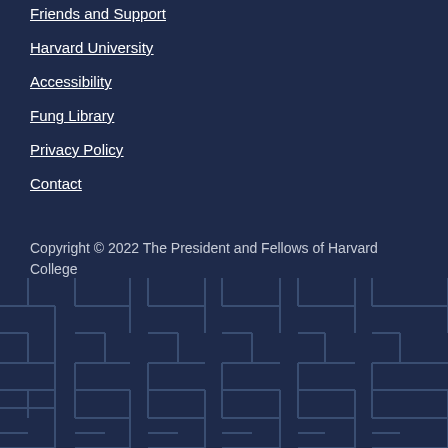Friends and Support
Harvard University
Accessibility
Fung Library
Privacy Policy
Contact
Copyright © 2022 The President and Fellows of Harvard College
[Figure (illustration): Decorative geometric maze-like pattern in dark navy blue with lighter blue outlines forming repeating angular shapes across the bottom portion of the page.]